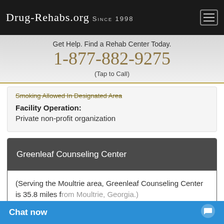Drug-Rehabs.org Since 1998
Get Help. Find a Rehab Center Today.
1-877-882-9275
(Tap to Call)
Smoking Allowed In Designated Area
Facility Operation: Private non-profit organization
Greenleaf Counseling Center
(Serving the Moultrie area, Greenleaf Counseling Center is 35.8 miles from Moultrie, Georgia.)
Chat now